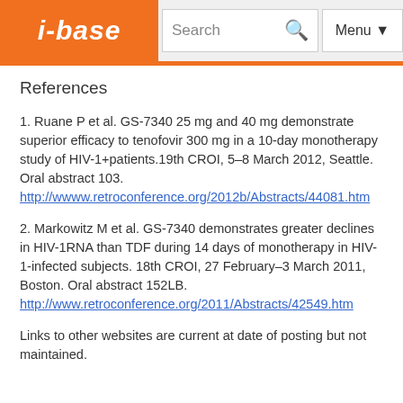[Figure (logo): i-base website header with orange logo, search bar, and menu button]
References
1. Ruane P et al. GS-7340 25 mg and 40 mg demonstrate superior efficacy to tenofovir 300 mg in a 10-day monotherapy study of HIV-1+patients.19th CROI, 5–8 March 2012, Seattle. Oral abstract 103. http://wwww.retroconference.org/2012b/Abstracts/44081.htm
2. Markowitz M et al. GS-7340 demonstrates greater declines in HIV-1RNA than TDF during 14 days of monotherapy in HIV-1-infected subjects. 18th CROI, 27 February–3 March 2011, Boston. Oral abstract 152LB. http://www.retroconference.org/2011/Abstracts/42549.htm
Links to other websites are current at date of posting but not maintained.